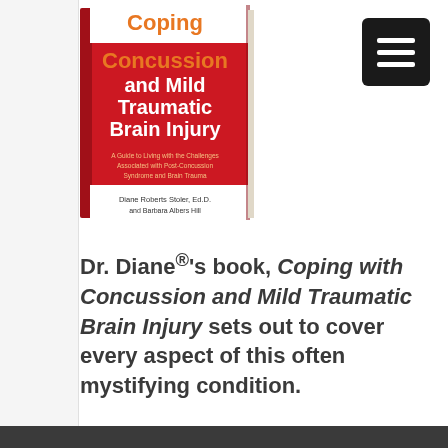[Figure (photo): Book cover of 'Coping with Concussion and Mild Traumatic Brain Injury' by Diane Roberts Stoler, Ed.D. and Barbara Albers Hill, shown as a physical book with red and white cover design.]
Dr. Diane®'s book, Coping with Concussion and Mild Traumatic Brain Injury sets out to cover every aspect of this often mystifying condition.
Buy Now